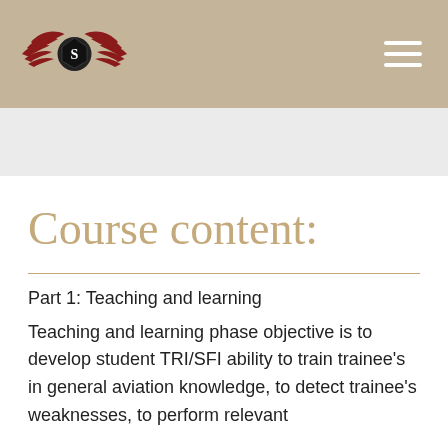[Figure (logo): Aviation school logo with wings and shield emblem on tan/khaki header bar]
Course content:
Part 1: Teaching and learning
Teaching and learning phase objective is to develop student TRI/SFI ability to train trainee's in general aviation knowledge, to detect trainee's weaknesses, to perform relevant